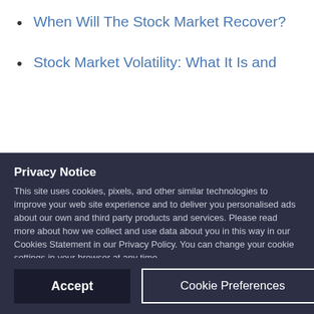When Will The Stock Market Recover?
Stock Market Volatility: What It Is and
Privacy Notice
This site uses cookies, pixels, and other similar technologies to improve your web site experience and to deliver you personalised ads about our own and third party products and services. Please read more about how we collect and use data about you in this way in our Cookies Statement in our Privacy Policy. You can change your cookie settings in your browser at any time.
Accept
Cookie Preferences